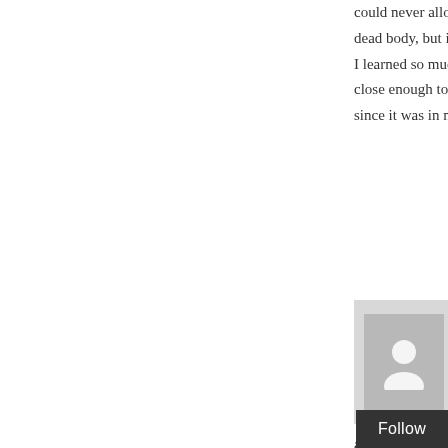could never allow them to v... dead body, but it is horrible I learned so much at CalJa... close enough to attend next since it was in my backyard
Ashleigh says: March 21, 2016 at ...
aw much love hun
Ed Bee says: March 20, 2016 at 3:19 pm
Beautiful blue sky today. Puffy whi... clouds part, chemtrails are visible j... frustration, Dane. I was encourage... well as the health advice you prom... would welcome more info on how t...